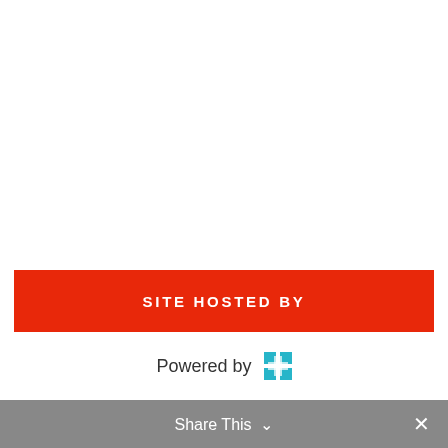SITE HOSTED BY
[Figure (logo): Powered by logo with teal grid icon]
> ADVERTISEMENT
Share This  ✕